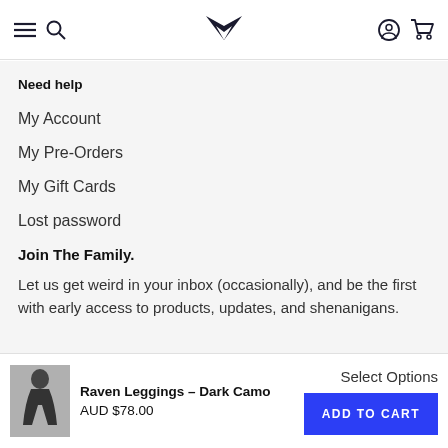Navigation header with menu, search, logo, account, and cart icons
Need help
My Account
My Pre-Orders
My Gift Cards
Lost password
Join The Family.
Let us get weird in your inbox (occasionally), and be the first with early access to products, updates, and shenanigans.
Raven Leggings – Dark Camo
AUD $78.00
Select Options
ADD TO CART